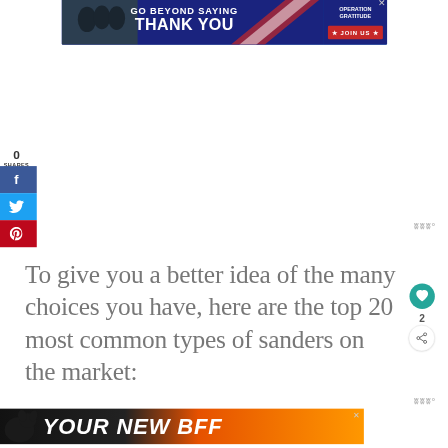[Figure (screenshot): Banner advertisement: 'GO BEYOND SAYING THANK YOU' with Operation Gratitude logo and JOIN US button on dark blue background]
0
SHARES
[Figure (infographic): Social share sidebar with Facebook (f), Twitter (bird), and Pinterest (p) buttons]
To give you a better idea of the many choices you have, here are the top 20 most common types of sanders on the market:
[Figure (screenshot): Bottom banner advertisement: 'YOUR NEW BFF' on orange and black background with dog silhouette]